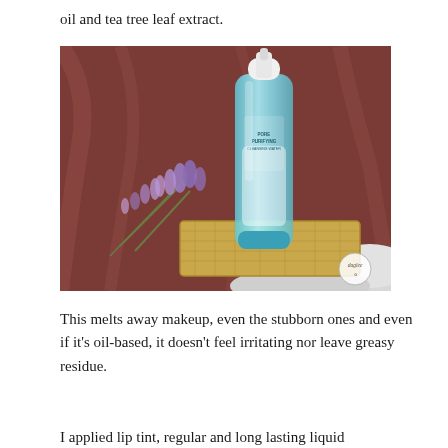oil and tea tree leaf extract.
[Figure (photo): A clear blue cylindrical skincare bottle with a white pump cap, labeled 'PORE PURIFYING', placed on a woven straw/hay surface alongside dried purple lavender flowers and a white fluffy fabric, against a dark red/burgundy draped background. A small circular logo watermark reads 'daglee' in script.]
This melts away makeup, even the stubborn ones and even if it's oil-based, it doesn't feel irritating nor leave greasy residue.
I applied lip tint, regular and long lasting liquid